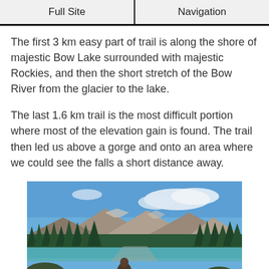Full Site | Navigation
The first 3 km easy part of trail is along the shore of majestic Bow Lake surrounded with majestic Rockies, and then the short stretch of the Bow River from the glacier to the lake.
The last 1.6 km trail is the most difficult portion where most of the elevation gain is found. The trail then led us above a gorge and onto an area where we could see the falls a short distance away.
[Figure (photo): Photo of a person standing near Bow Lake with turquoise water, surrounded by Rocky Mountains with forested slopes and a blue sky with clouds.]